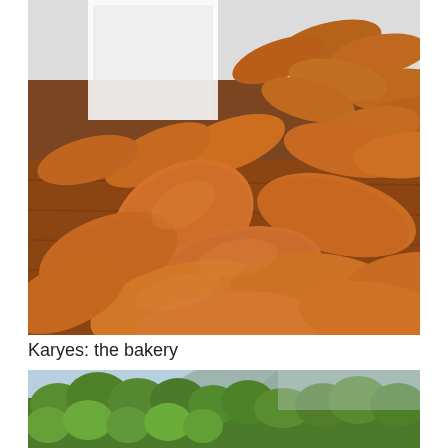[Figure (photo): Photograph of multiple oval-shaped bread loaves piled on a wooden surface at a bakery, with a person in a white coat visible in the background near baking shelves.]
Karyes: the bakery
[Figure (photo): Photograph of green trees and forested hillside with misty mountains visible in the background.]